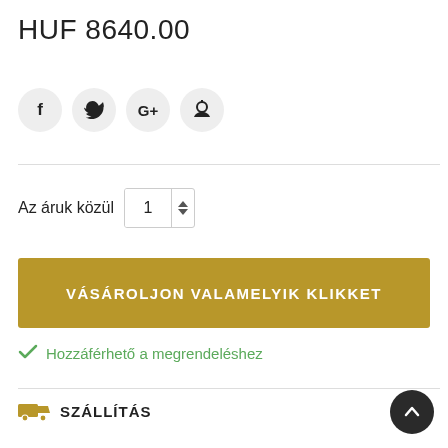HUF 8640.00
[Figure (other): Social sharing icons: Facebook (f), Twitter (bird), Google+ (G+), Pinterest (P) — circular grey buttons]
Az áruk közül  1
VÁSÁROLJON VALAMELYIK KLIKKET
Hozzáférhető a megrendeléshez
SZÁLLÍTÁS